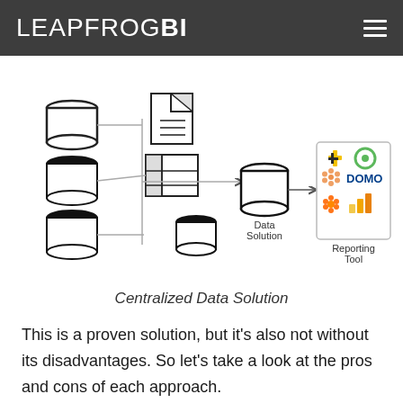LEAPFROGBI
[Figure (flowchart): Centralized Data Solution flowchart showing multiple database and document sources on the left feeding through connector lines into a central 'Data Solution' database, which connects via arrow to a 'Reporting Tool' box on the right containing logos for various BI tools (Tableau, Qlik, Domo, Talend, Power BI).]
Centralized Data Solution
This is a proven solution, but it’s also not without its disadvantages. So let’s take a look at the pros and cons of each approach.